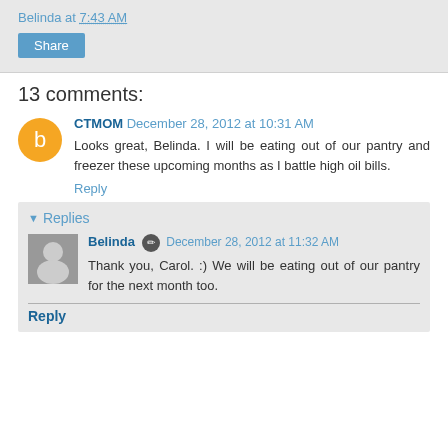Belinda at 7:43 AM
Share
13 comments:
CTMOM  December 28, 2012 at 10:31 AM
Looks great, Belinda. I will be eating out of our pantry and freezer these upcoming months as I battle high oil bills.
Reply
Replies
Belinda  December 28, 2012 at 11:32 AM
Thank you, Carol. :) We will be eating out of our pantry for the next month too.
Reply